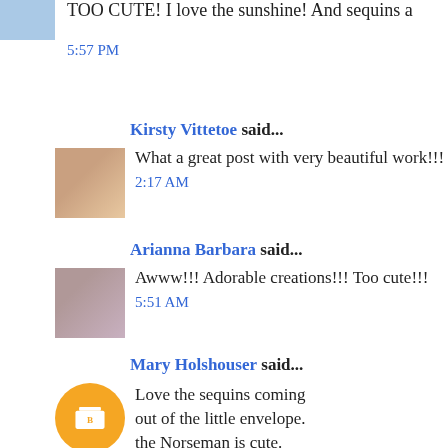TOO CUTE! I love the sunshine! And sequins a...
5:57 PM
Kirsty Vittetoe said...
What a great post with very beautiful work!!!
2:17 AM
Arianna Barbara said...
Awww!!! Adorable creations!!! Too cute!!!
5:51 AM
Mary Holshouser said...
Love the sequins coming out of the little envelope. the Norseman is cute.